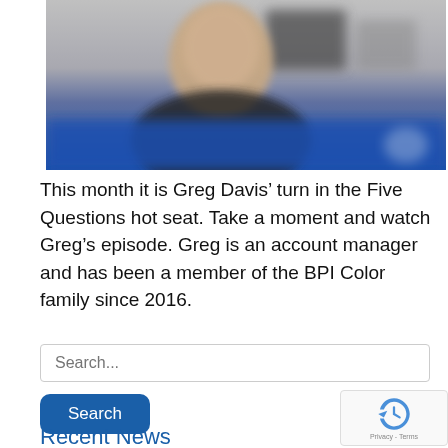[Figure (photo): Blurred photo of a person (Greg Davis) in front of a blue background, wearing dark clothing]
This month it is Greg Davis’ turn in the Five Questions hot seat. Take a moment and watch Greg’s episode. Greg is an account manager and has been a member of the BPI Color family since 2016.
Search...
Search
Recent News